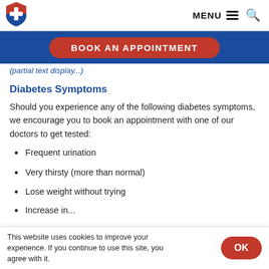MENU [navigation icons]
[Figure (logo): Red and blue shield logo with white cross]
BOOK AN APPOINTMENT
(partial text cut off)
Diabetes Symptoms
Should you experience any of the following diabetes symptoms, we encourage you to book an appointment with one of our doctors to get tested:
Frequent urination
Very thirsty (more than normal)
Lose weight without trying
This website uses cookies to improve your experience. If you continue to use this site, you agree with it.